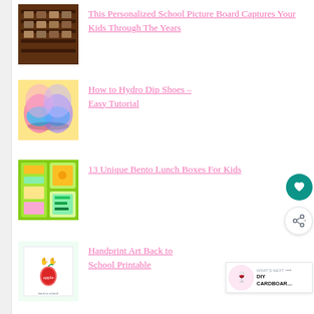[Figure (photo): Wooden picture display board/shelf with multiple photos arranged in rows]
This Personalized School Picture Board Captures Your Kids Through The Years
[Figure (photo): Two colorful hydro-dipped shoes with pink, yellow, and purple swirl pattern]
How to Hydro Dip Shoes – Easy Tutorial
[Figure (photo): Green bento lunch boxes filled with various foods including vegetables and sandwiches]
13 Unique Bento Lunch Boxes For Kids
[Figure (photo): Handprint art printable showing green handprints with apple design, back to school theme]
Handprint Art Back to School Printable